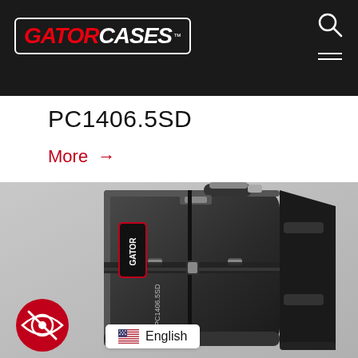[Figure (logo): Gator Cases logo in white border box on dark header, GATOR in red italic bold, CASES in white italic bold]
PC1406.5SD
More →
[Figure (photo): Close-up photo of a black Gator Cases drum/percussion hard case with handle and latches, shown at an angle with a red Gator logo badge and strap visible]
English